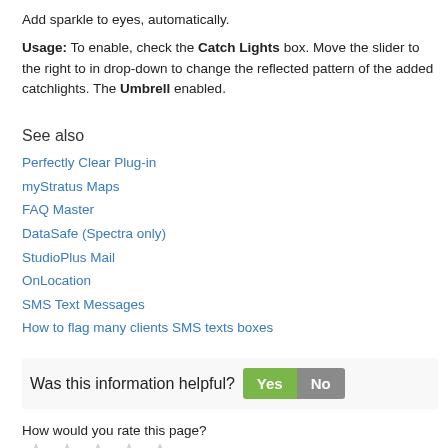Add sparkle to eyes, automatically.
Usage: To enable, check the Catch Lights box. Move the slider to the right to increase, drop-down to change the reflected pattern of the added catchlights. The Umbrella option is only enabled.
See also
Perfectly Clear Plug-in
myStratus Maps
FAQ Master
DataSafe (Spectra only)
StudioPlus Mail
OnLocation
SMS Text Messages
How to flag many clients SMS texts boxes
Was this information helpful? Yes No
How would you rate this page?